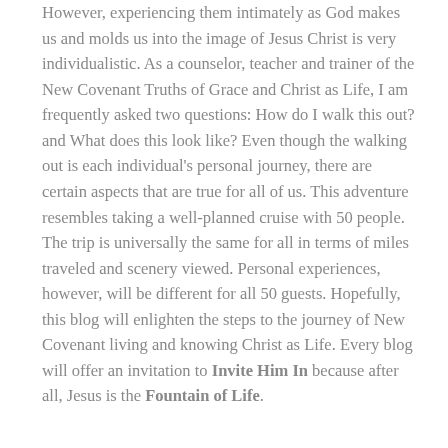However, experiencing them intimately as God makes us and molds us into the image of Jesus Christ is very individualistic. As a counselor, teacher and trainer of the New Covenant Truths of Grace and Christ as Life, I am frequently asked two questions: How do I walk this out? and What does this look like? Even though the walking out is each individual's personal journey, there are certain aspects that are true for all of us. This adventure resembles taking a well-planned cruise with 50 people. The trip is universally the same for all in terms of miles traveled and scenery viewed. Personal experiences, however, will be different for all 50 guests. Hopefully, this blog will enlighten the steps to the journey of New Covenant living and knowing Christ as Life. Every blog will offer an invitation to Invite Him In because after all, Jesus is the Fountain of Life.